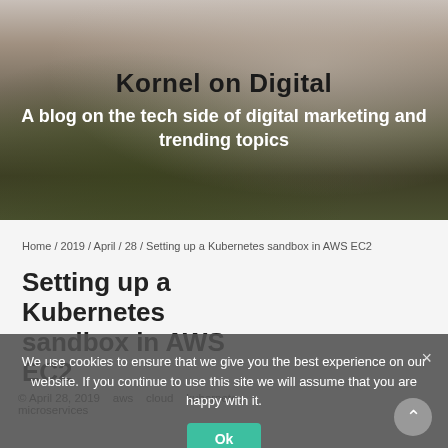[Figure (photo): Landscape photo of fields and trees used as hero banner background for the blog]
Kornel on Digital
A blog on the tech side of digital marketing and trending topics
Home / 2019 / April / 28 / Setting up a Kubernetes sandbox in AWS EC2
Setting up a Kubernetes sandbox in AWS EC2
We use cookies to ensure that we give you the best experience on our website. If you continue to use this site we will assume that you are happy with it.
Ok
© April 28, 2019   aws   cloud   kubernetes   microservices